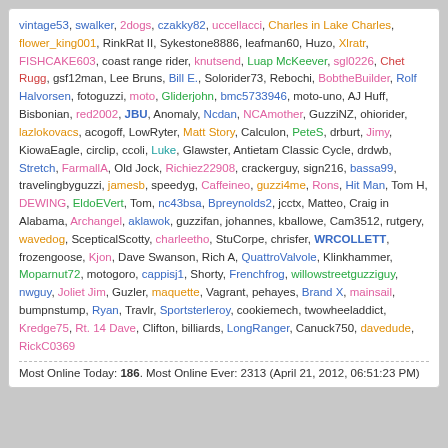vintage53, swalker, 2dogs, czakky82, uccellacci, Charles in Lake Charles, flower_king001, RinkRat II, Sykestone8886, leafman60, Huzo, Xlratr, FISHCAKE603, coast range rider, knutsend, Luap McKeever, sgl0226, Chet Rugg, gsf12man, Lee Bruns, Bill E., Solorider73, Rebochi, BobtheBuilder, Rolf Halvorsen, fotoguzzi, moto, Gliderjohn, bmc5733946, moto-uno, AJ Huff, Bisbonian, red2002, JBU, Anomaly, Ncdan, NCAmother, GuzziNZ, ohiorider, lazlokovacs, acogoff, LowRyter, Matt Story, Calculon, PeteS, drburt, Jimy, KiowaEagle, circlip, ccoli, Luke, Glawster, Antietam Classic Cycle, drdwb, Stretch, FarmallA, Old Jock, Richiez22908, crackerguy, sign216, bassa99, travelingbyguzzi, jamesb, speedyg, Caffeineo, guzzi4me, Rons, Hit Man, Tom H, DEWING, EldoEVert, Tom, nc43bsa, Bpreynolds2, jcctx, Matteo, Craig in Alabama, Archangel, aklawok, guzzifan, johannes, kballowe, Cam3512, rutgery, wavedog, ScepticalScotty, charleetho, StuCorpe, chrisfer, WRCOLLETT, frozengoose, Kjon, Dave Swanson, Rich A, QuattroValvole, Klinkhammer, Moparnut72, motogoro, cappisj1, Shorty, Frenchfrog, willowstreetguzziguy, nwguy, Joliet Jim, Guzler, maquette, Vagrant, pehayes, Brand X, mainsail, bumpnstump, Ryan, Travlr, Sportsterleroy, cookiemech, twowheeladdict, Kredge75, Rt. 14 Dave, Clifton, billiards, LongRanger, Canuck750, davedude, RickC0369
Most Online Today: 186. Most Online Ever: 2313 (April 21, 2012, 06:51:23 PM)